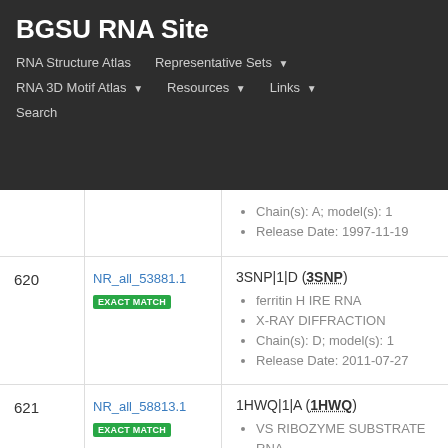BGSU RNA Site
RNA Structure Atlas | Representative Sets | RNA 3D Motif Atlas | Resources | Links | Search
| # | ID | Entry Details |
| --- | --- | --- |
|  |  | Chain(s): A; model(s): 1 | Release Date: 1997-11-19 |
| 620 | NR_all_53881.1 EXACT MATCH | 3SNP|1|D (3SNP) | ferritin H IRE RNA | X-RAY DIFFRACTION | Chain(s): D; model(s): 1 | Release Date: 2011-07-27 |
| 621 | NR_all_58813.1 EXACT MATCH | 1HWQ|1|A (1HWQ) | VS RIBOZYME SUBSTRATE RNA | SOLUTION NMR | Chain(s): A; model(s): 1 | Release Date: 2001-05-16 |